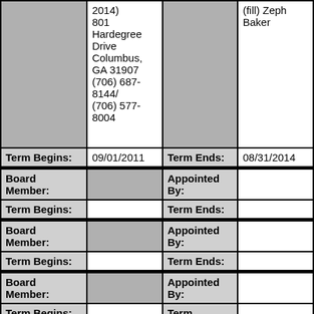| [shaded] | 2014)
801 Hardegree Drive
Columbus, GA 31907
(706) 687-8144/
(706) 577-8004 | [shaded] | (fill) Zeph Baker |
| Term Begins: | 09/01/2011 | Term Ends: | 08/31/2014 |
| Board Member: |  | Appointed By: |  |
| Term Begins: |  | Term Ends: |  |
| Board Member: |  | Appointed By: |  |
| Term Begins: |  | Term Ends: |  |
| Board Member: |  | Appointed By: |  |
| Term Begins: |  | Term |  |